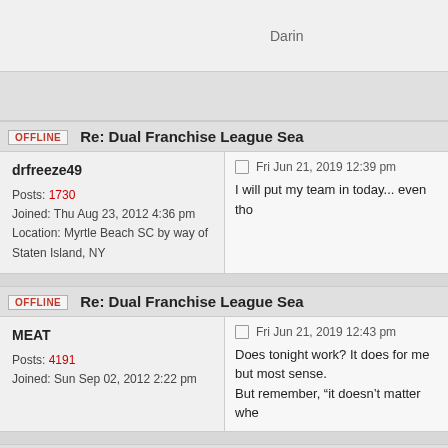Darin
Re: Dual Franchise League Sea
OFFLINE
drfreeze49
Posts: 1730
Joined: Thu Aug 23, 2012 4:36 pm
Location: Myrtle Beach SC by way of Staten Island, NY
Fri Jun 21, 2019 12:39 pm
I will put my team in today... even tho
Re: Dual Franchise League Sea
OFFLINE
MEAT
Posts: 4191
Joined: Sun Sep 02, 2012 2:22 pm
Fri Jun 21, 2019 12:43 pm
Does tonight work? It does for me but most sense.
But remember, “it doesn't matter whe
Re: Dual Franchise League Sea
OFFLINE